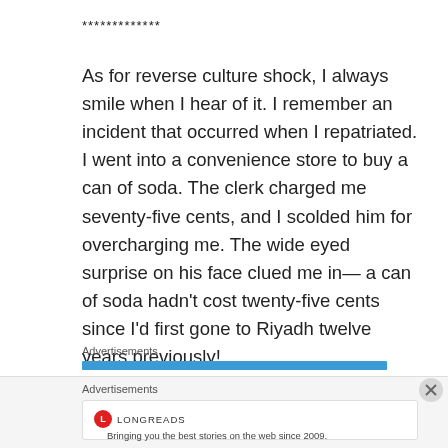*************
As for reverse culture shock, I always smile when I hear of it. I remember an incident that occurred when I repatriated. I went into a convenience store to buy a can of soda. The clerk charged me seventy-five cents, and I scolded him for overcharging me. The wide eyed surprise on his face clued me in— a can of soda hadn't cost twenty-five cents since I'd first gone to Riyadh twelve years previously!
Advertisements
Advertisements
LONGREADS
Bringing you the best stories on the web since 2009.